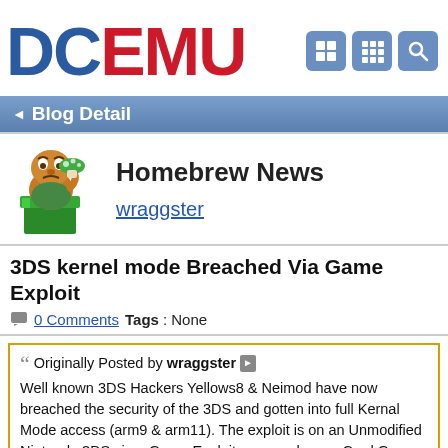DCEMU
Blog Detail
[Figure (illustration): Pixel art character (mushroom/frog themed) holding a green mushroom, standing in a green pipe]
Homebrew News
wraggster
3DS kernel mode Breached Via Game Exploit
0 Comments Tags: None
Originally Posted by wraggster
Well known 3DS Hackers Yellows8 & Neimod have now breached the security of the 3DS and gotten into full Kernal Mode access (arm9 & arm11). The exploit is on an Unmodified Nintendo 3DS via a Game Exploit on an unknown Card Game (although shouldnt be too hard to find out which. As of yet the exploit though unreleased is working perfectly. As you can see via the screenshot below.